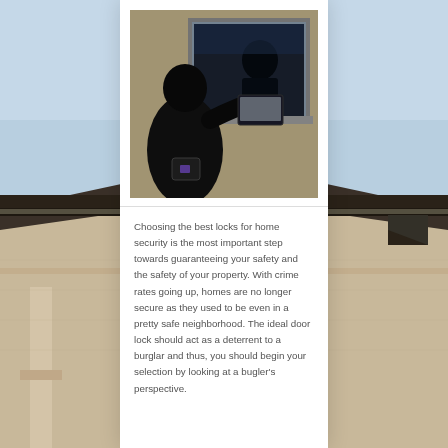[Figure (photo): A burglar dressed in black breaking into a window, with a person inside pulling a laptop through the window opening. Dark silhouette style photo.]
Choosing the best locks for home security is the most important step towards guaranteeing your safety and the safety of your property. With crime rates going up, homes are no longer secure as they used to be even in a pretty safe neighborhood. The ideal door lock should act as a deterrent to a burglar and thus, you should begin your selection by looking at a bugler's perspective.